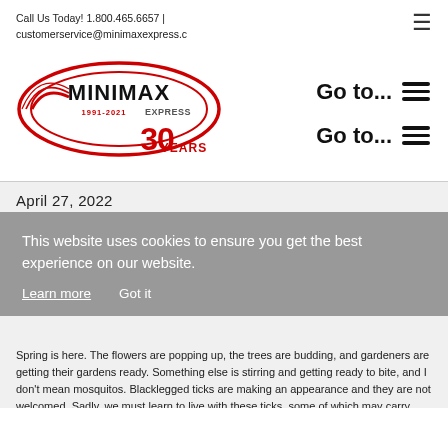Call Us Today! 1.800.465.6657 | customerservice@minimaxexpress.c
[Figure (logo): Minimax Express logo with oval design, text '1991-2021', '30 YEARS' in red]
Go to...
Go to...
April 27, 2022
This website uses cookies to ensure you get the best experience on our website.
Learn more
Got it
Spring is here. The flowers are popping up, the trees are budding, and gardeners are getting their gardens ready. Something else is stirring and getting ready to bite, and I don't mean mosquitos. Blacklegged ticks are making an appearance and they are not welcomed. Sadly, we must learn to live with these ticks, some of which may carry Lyme disease. Maybe now is a good time to remind ourselves how best to deal with